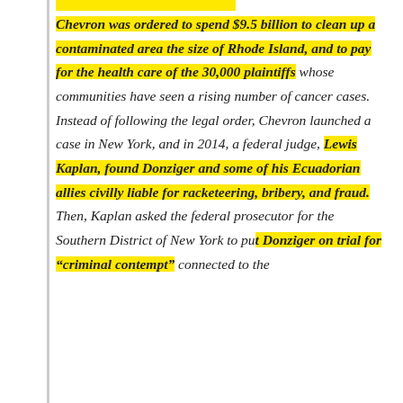Chevron was ordered to spend $9.5 billion to clean up a contaminated area the size of Rhode Island, and to pay for the health care of the 30,000 plaintiffs whose communities have seen a rising number of cancer cases. Instead of following the legal order, Chevron launched a case in New York, and in 2014, a federal judge, Lewis Kaplan, found Donziger and some of his Ecuadorian allies civilly liable for racketeering, bribery, and fraud. Then, Kaplan asked the federal prosecutor for the Southern District of New York to put Donziger on trial for "criminal contempt" connected to the